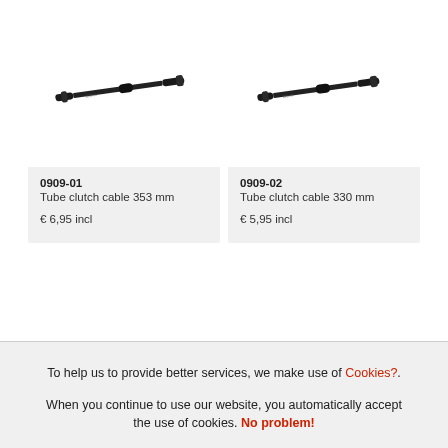[Figure (photo): Tube clutch cable 353mm product image - black metal cable tube on white background]
0909-01
Tube clutch cable 353 mm

€ 6,95 incl
[Figure (photo): Tube clutch cable 330mm product image - black metal cable tube on white background]
0909-02
Tube clutch cable 330 mm

€ 5,95 incl
To help us to provide better services, we make use of Cookies?.
When you continue to use our website, you automatically accept the use of cookies. No problem!